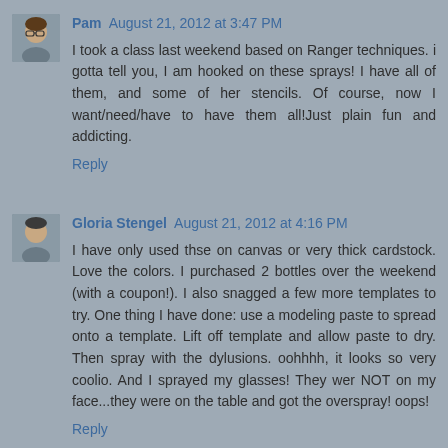[Figure (photo): Avatar photo of Pam, a woman with glasses]
Pam August 21, 2012 at 3:47 PM
I took a class last weekend based on Ranger techniques. i gotta tell you, I am hooked on these sprays! I have all of them, and some of her stencils. Of course, now I want/need/have to have them all!Just plain fun and addicting.
Reply
[Figure (photo): Avatar photo of Gloria Stengel, a woman]
Gloria Stengel August 21, 2012 at 4:16 PM
I have only used thse on canvas or very thick cardstock. Love the colors. I purchased 2 bottles over the weekend (with a coupon!). I also snagged a few more templates to try. One thing I have done: use a modeling paste to spread onto a template. Lift off template and allow paste to dry. Then spray with the dylusions. oohhhh, it looks so very coolio. And I sprayed my glasses! They wer NOT on my face...they were on the table and got the overspray! oops!
Reply